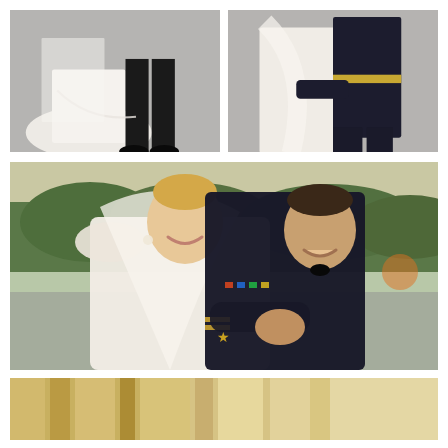[Figure (photo): Top-left wedding photo: close-up of bride's white gown train and groom's black dress pants/shoes walking on pavement]
[Figure (photo): Top-right wedding photo: bride in white gown and groom in military dress uniform embracing, shot from behind/side on pavement]
[Figure (photo): Large middle wedding photo: smiling bride with blonde hair, veil, lace wedding dress being embraced from behind by groom in Navy military dress uniform with medals and gold star insignia, outdoor setting with trees and road in background at dusk]
[Figure (photo): Bottom partial photo: gold and cream fabric (possibly bridesmaid dresses or decorative fabric) with soft lighting]